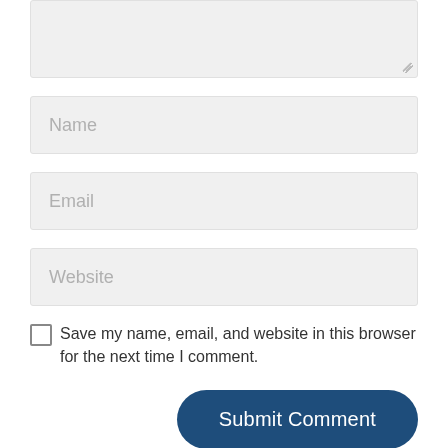[Figure (screenshot): A web comment form showing a partially visible textarea at the top, followed by Name, Email, and Website input fields, a checkbox with label 'Save my name, email, and website in this browser for the next time I comment.', and a 'Submit Comment' button.]
Name
Email
Website
Save my name, email, and website in this browser for the next time I comment.
Submit Comment